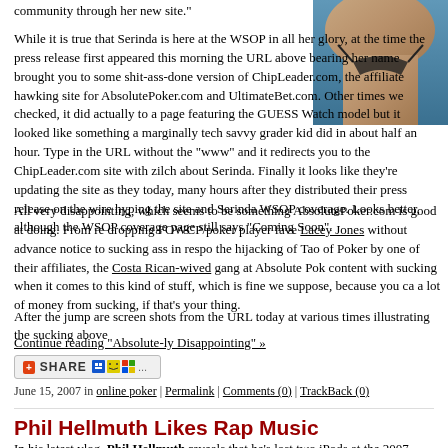community through her new site."
[Figure (photo): Partial photo of a woman in a dark bikini top near water]
While it is true that Serinda is here at the WSOP in all her glory, at the time the press release first appeared this morning the URL above bearing her name brought you to some shit-ass-done version of ChipLeader.com, the affiliate hawking site for AbsolutePoker.com and UltimateBet.com. Other times we checked, it did actually to a page featuring the GUESS Watch model but it looked like something a marginally tech savvy grader kid did in about half an hour. Type in the URL without the "www" and it redirects you to the ChipLeader.com site with zilch about Serinda. Finally it looks like they're updating the site as they today, many hours after they distributed their press release on the wire hyping the site and Serinda WSOP coverage. Looks better, although the WSOP coverage page still says "Coming Soon".
All very disappointing, which seems to be something AbsolutePoker.com is good at doing. From re dropping FOWCP/poker player fave Lacey Jones without advance notice to sucking ass in respo the hijacking of Tao of Poker by one of their affiliates, the Costa Rican-wived gang at Absolute Pok content with sucking when it comes to this kind of stuff, which is fine we suppose, because you ca a lot of money from sucking, if that's your thing.
After the jump are screen shots from the URL today at various times illustrating the sucking above
Continue reading "Absolute-ly Disappointing" »
[Figure (other): Share button widget with social sharing icons]
June 15, 2007 in online poker | Permalink | Comments (0) | TrackBack (0)
Phil Hellmuth Likes Rap Music
In his latest vlog, Phil Hellmuth reveals that he's lost two iPods at the 2007 WSOP so far, but he new one that's loaded with tracks from Lil Flip.